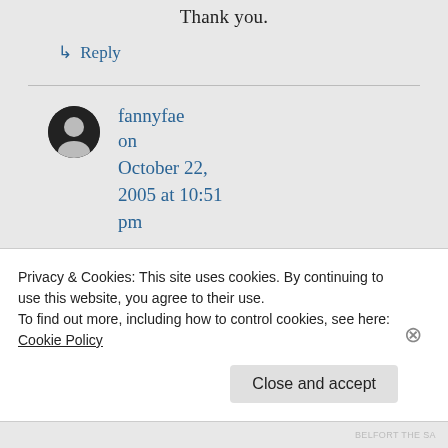Thank you.
↳ Reply
fannyfae on October 22, 2005 at 10:51 pm
For me, my Lord, it is a mark of pride.
Privacy & Cookies: This site uses cookies. By continuing to use this website, you agree to their use.
To find out more, including how to control cookies, see here: Cookie Policy
Close and accept